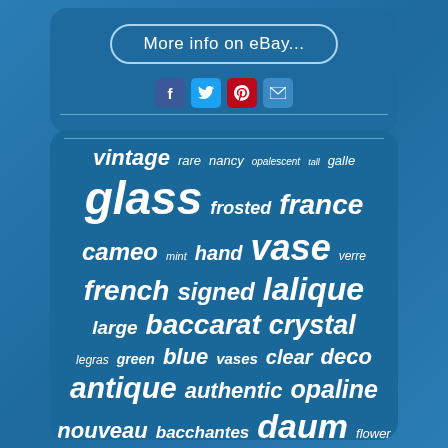[Figure (screenshot): eBay button with rounded border saying 'More info on eBay...']
[Figure (infographic): Social media icons: Facebook (blue), Twitter (light blue), Pinterest (red), Email (blue)]
[Figure (infographic): Word cloud on blue background with antique glass related terms: vintage, rare, nancy, opalescent, tall, galle, glass, frosted, france, cameo, mint, hand, vase, verre, french, signed, lalique, large, baccarat, crystal, legras, green, blue, vases, clear, deco, antique, authentic, opaline, nouveau, bacchantes, daum, flower]